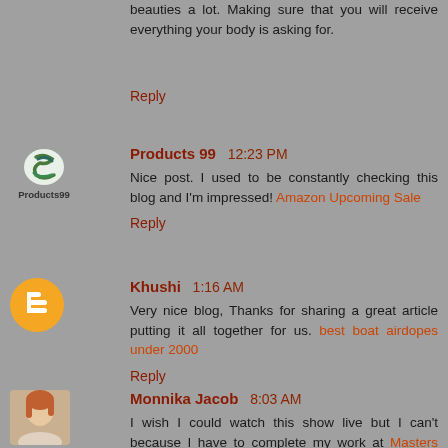beauties a lot. Making sure that you will receive everything your body is asking for.
Reply
Products 99  12:23 PM
Nice post. I used to be constantly checking this blog and I'm impressed! Amazon Upcoming Sale
Reply
Khushi  1:16 AM
Very nice blog, Thanks for sharing a great article putting it all together for us. best boat airdopes under 2000
Reply
Monnika Jacob  8:03 AM
I wish I could watch this show live but I can't because I have to complete my work at Masters Dissertation Writing